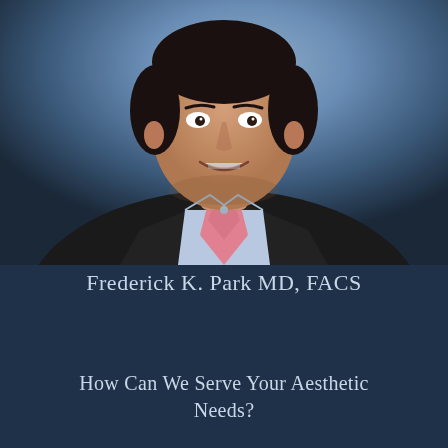[Figure (photo): Professional headshot of Frederick K. Park MD, FACS — a man in a dark suit with a light blue dress shirt and pink tie, smiling, against a blue-grey studio background.]
Frederick K. Park MD, FACS
How Can We Serve Your Aesthetic Needs?